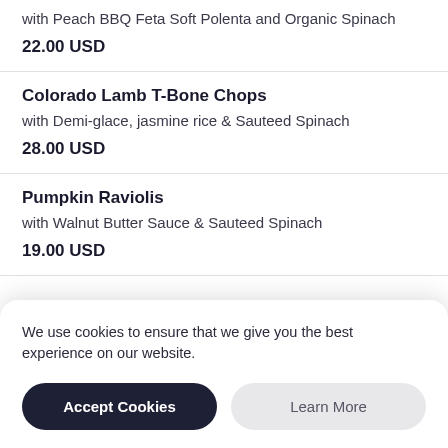with Peach BBQ Feta Soft Polenta and Organic Spinach
22.00 USD
Colorado Lamb T-Bone Chops
with Demi-glace, jasmine rice & Sauteed Spinach
28.00 USD
Pumpkin Raviolis
with Walnut Butter Sauce & Sauteed Spinach
19.00 USD
We use cookies to ensure that we give you the best experience on our website.
Accept Cookies
Learn More